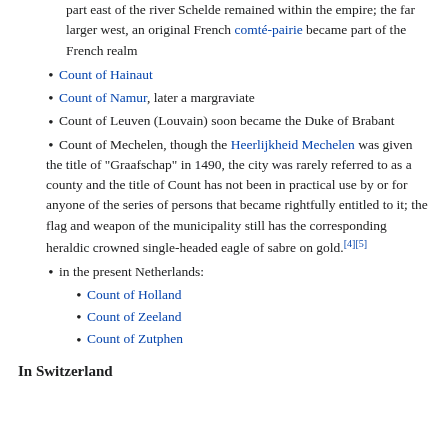part east of the river Schelde remained within the empire; the far larger west, an original French comté-pairie became part of the French realm
Count of Hainaut
Count of Namur, later a margraviate
Count of Leuven (Louvain) soon became the Duke of Brabant
Count of Mechelen, though the Heerlijkheid Mechelen was given the title of "Graafschap" in 1490, the city was rarely referred to as a county and the title of Count has not been in practical use by or for anyone of the series of persons that became rightfully entitled to it; the flag and weapon of the municipality still has the corresponding heraldic crowned single-headed eagle of sabre on gold.[4][5]
in the present Netherlands:
Count of Holland
Count of Zeeland
Count of Zutphen
In Switzerland